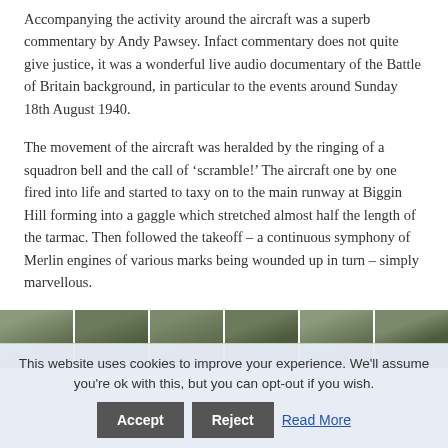Accompanying the activity around the aircraft was a superb commentary by Andy Pawsey. Infact commentary does not quite give justice, it was a wonderful live audio documentary of the Battle of Britain background, in particular to the events around Sunday 18th August 1940.
The movement of the aircraft was heralded by the ringing of a squadron bell and the call of ‘scramble!’ The aircraft one by one fired into life and started to taxy on to the main runway at Biggin Hill forming into a gaggle which stretched almost half the length of the tarmac. Then followed the takeoff – a continuous symphony of Merlin engines of various marks being wounded up in turn – simply marvellous.
[Figure (photo): A horizontal strip of six small thumbnail photographs showing aircraft or airfield scenes, appearing at the bottom of the content area.]
This website uses cookies to improve your experience. We'll assume you're ok with this, but you can opt-out if you wish.